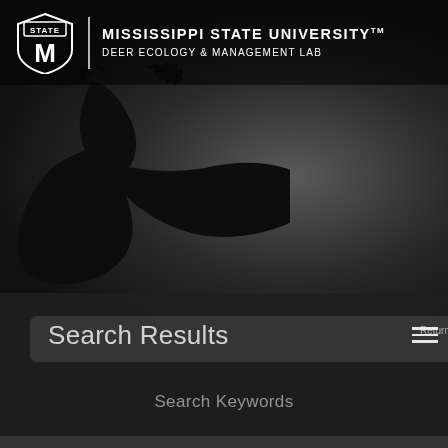[Figure (screenshot): Mississippi State University Deer Ecology & Management Lab website screenshot showing dark background with deer silhouette, university logo header, and search results interface]
MISSISSIPPI STATE UNIVERSITY™ DEER ECOLOGY & MANAGEMENT LAB
Search Results
Return To Publications
Search Keywords